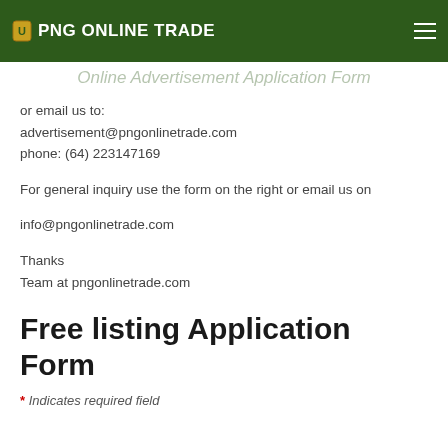PNG ONLINE TRADE
Online Advertisement Application Form
or  email us to:
advertisement@pngonlinetrade.com
phone: (64) 223147169
For general inquiry use the form on the right or email us on
info@pngonlinetrade.com
Thanks
Team at pngonlinetrade.com
Free listing Application Form
* Indicates required field